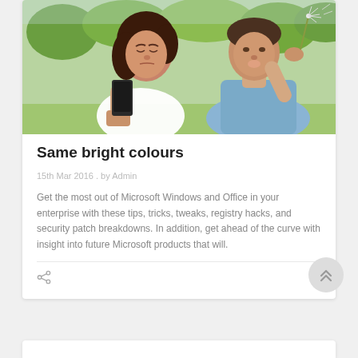[Figure (photo): A woman looking at her smartphone with a frustrated expression outdoors in a park, while a man next to her blows on a dandelion.]
Same bright colours
15th Mar 2016 . by Admin
Get the most out of Microsoft Windows and Office in your enterprise with these tips, tricks, tweaks, registry hacks, and security patch breakdowns. In addition, get ahead of the curve with insight into future Microsoft products that will.